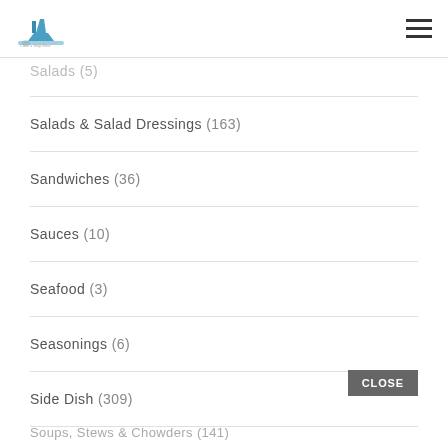Logo and navigation header
Salads (5)
Salads & Salad Dressings (163)
Sandwiches (36)
Sauces (10)
Seafood (3)
Seasonings (6)
Side Dish (309)
Soups, Stews & Chowders (141)